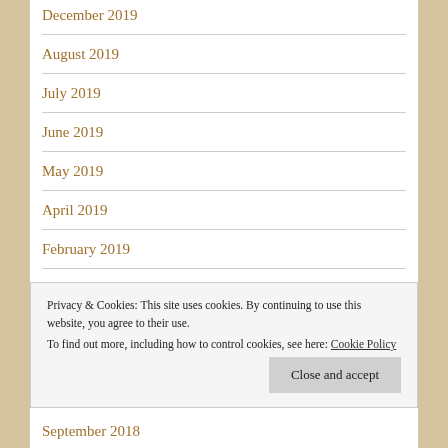December 2019
August 2019
July 2019
June 2019
May 2019
April 2019
February 2019
Privacy & Cookies: This site uses cookies. By continuing to use this website, you agree to their use.
To find out more, including how to control cookies, see here: Cookie Policy
September 2018